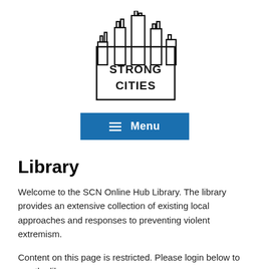[Figure (logo): Strong Cities Network logo: a skyline silhouette above a square border containing the text STRONG CITIES]
[Figure (other): Blue Menu button with hamburger icon]
Library
Welcome to the SCN Online Hub Library. The library provides an extensive collection of existing local approaches and responses to preventing violent extremism.
Content on this page is restricted. Please login below to use the library.
Username or Email Address